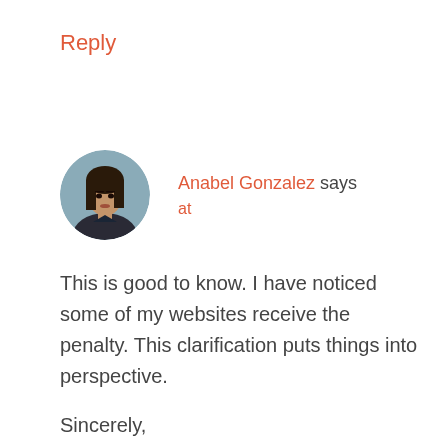Reply
[Figure (photo): Circular avatar photo of Anabel Gonzalez, a woman with long dark hair]
Anabel Gonzalez says
at
This is good to know. I have noticed some of my websites receive the penalty. This clarification puts things into perspective.
Sincerely,